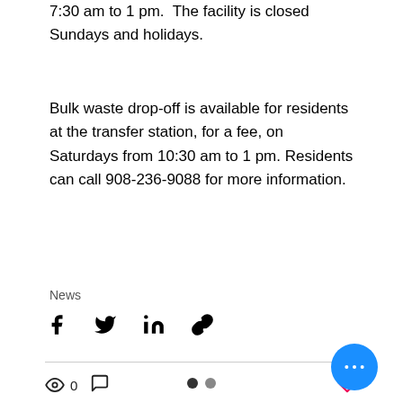7:30 am to 1 pm.  The facility is closed Sundays and holidays.
Bulk waste drop-off is available for residents at the transfer station, for a fee, on Saturdays from 10:30 am to 1 pm. Residents can call 908-236-9088 for more information.
News
[Figure (infographic): Social share icons: Facebook, Twitter, LinkedIn, link/chain icon]
[Figure (infographic): Stats row: eye/views icon with count 0, comment bubble icon, heart/like icon; pagination dots; blue circular more-options button with ellipsis]